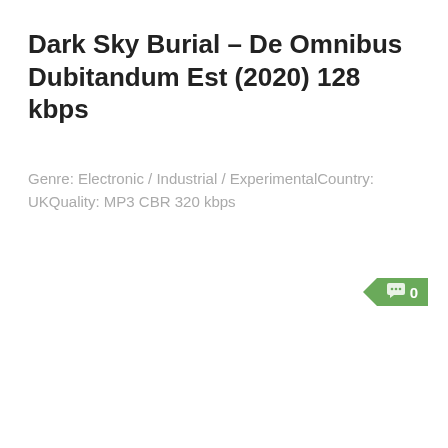Dark Sky Burial – De Omnibus Dubitandum Est (2020) 128 kbps
Genre: Electronic / Industrial / ExperimentalCountry: UKQuality: MP3 CBR 320 kbps
[Figure (other): Green comment badge with speech bubble icon and the number 0]